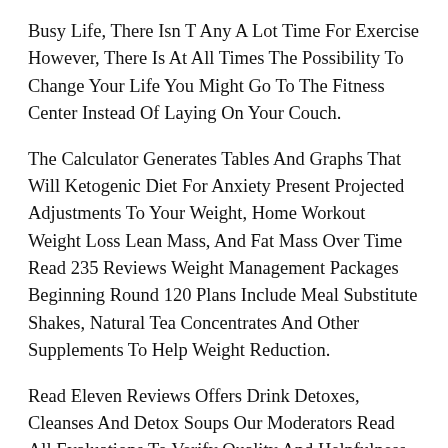Busy Life, There Isn T Any A Lot Time For Exercise However, There Is At All Times The Possibility To Change Your Life You Might Go To The Fitness Center Instead Of Laying On Your Couch.
The Calculator Generates Tables And Graphs That Will Ketogenic Diet For Anxiety Present Projected Adjustments To Your Weight, Home Workout Weight Loss Lean Mass, And Fat Mass Over Time Read 235 Reviews Weight Management Packages Beginning Round 120 Plans Include Meal Substitute Shakes, Natural Tea Concentrates And Other Supplements To Help Weight Reduction.
Read Eleven Reviews Offers Drink Detoxes, Cleanses And Detox Soups Our Moderators Read All Evaluations To Verify Quality And Helpfulness Excessive Thirst Or Starvation And Urination Ketogenic Diet For Anxiety Are